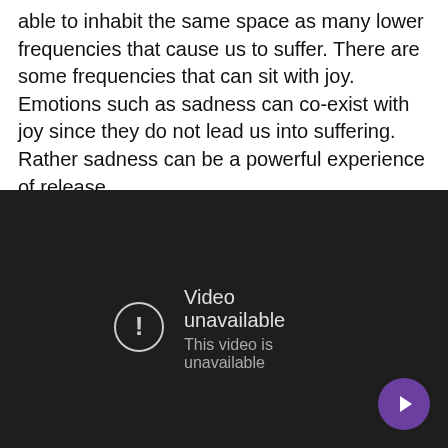able to inhabit the same space as many lower frequencies that cause us to suffer. There are some frequencies that can sit with joy. Emotions such as sadness can co-exist with joy since they do not lead us into suffering. Rather sadness can be a powerful experience of release.
[Figure (screenshot): Dark video player showing 'Video unavailable' message with exclamation icon and subtitle 'This video is unavailable'. A purple circular button with a right-arrow is in the bottom-right corner.]